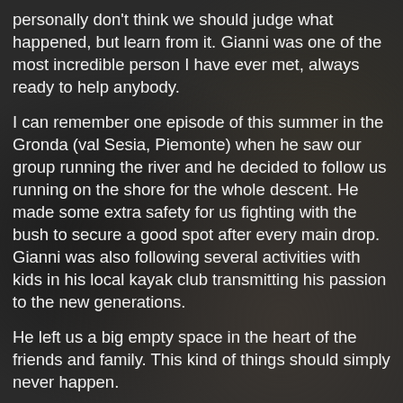personally don't think we should judge what happened, but learn from it. Gianni was one of the most incredible person I have ever met, always ready to help anybody.
I can remember one episode of this summer in the Gronda (val Sesia, Piemonte) when he saw our group running the river and he decided to follow us running on the shore for the whole descent. He made some extra safety for us fighting with the bush to secure a good spot after every main drop. Gianni was also following several activities with kids in his local kayak club transmitting his passion to the new generations.
He left us a big empty space in the heart of the friends and family. This kind of things should simply never happen.
All the kayakers should learn rivers deserve respect and we cannot play with our life. A lot of people care about us, like all of us will care forever about Gianni.
No more words, rest in peace Gianni Slalom.